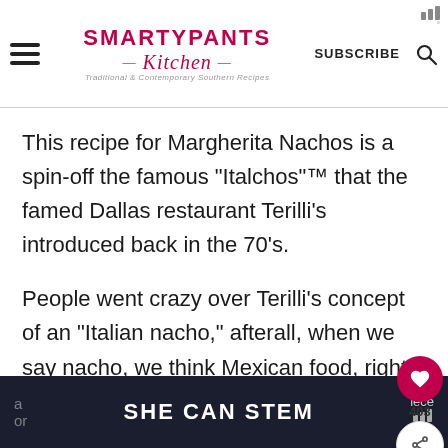SMARTYPANTS Kitchen — Traditional & Contemporary Southern Recipes — SUBSCRIBE
This recipe for Margherita Nachos is a spin-off the famous "Italchos"™ that the famed Dallas restaurant Terilli's introduced back in the 70's.
People went crazy over Terilli's concept of an "Italian nacho," afterall, when we say nacho, we think Mexican food, right? We with a few simple ingredients, you can tu...
a   SHE CAN STEM   iece
or